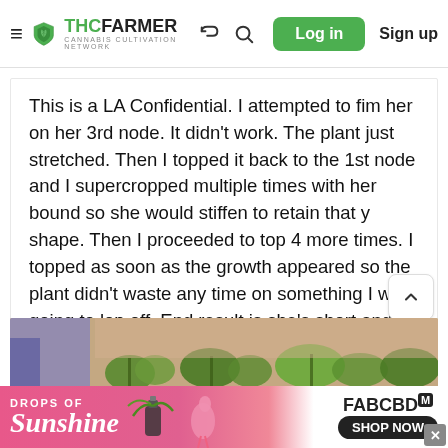THC FARMER - Cannabis Cultivation Network - Log in - Sign up
This is a LA Confidential. I attempted to fim her on her 3rd node. It didn't work. The plant just stretched. Then I topped it back to the 1st node and I supercropped multiple times with her bound so she would stiffen to retain that y shape. Then I proceeded to top 4 more times. I topped as soon as the growth appeared so the plant didn't waste any time on something I was going to lop off. End result is she's short and stocky with an even canopy. This is my first time doing it this way... 4th grow(6 plants total). The blooms are 7 days old.
[Figure (photo): Partial view of cannabis plants under grow lights, showing green foliage with purple/blue equipment visible]
[Figure (other): Advertisement banner: DROPS OF Sunshine - FABCBD - SHOP NOW]